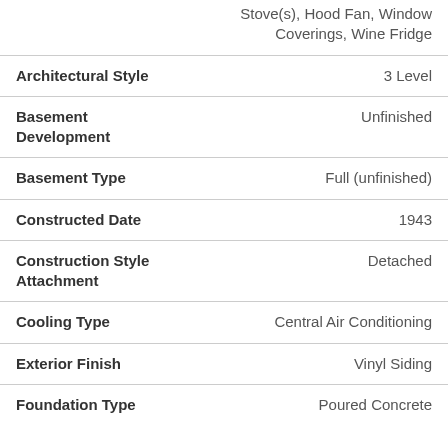| Field | Value |
| --- | --- |
|  | Stove(s), Hood Fan, Window Coverings, Wine Fridge |
| Architectural Style | 3 Level |
| Basement Development | Unfinished |
| Basement Type | Full (unfinished) |
| Constructed Date | 1943 |
| Construction Style Attachment | Detached |
| Cooling Type | Central Air Conditioning |
| Exterior Finish | Vinyl Siding |
| Foundation Type | Poured Concrete |